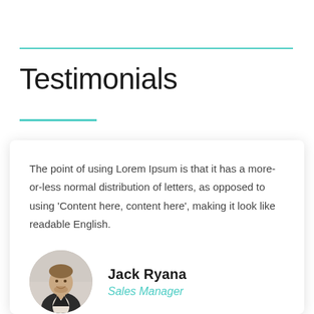Testimonials
The point of using Lorem Ipsum is that it has a more-or-less normal distribution of letters, as opposed to using 'Content here, content here', making it look like readable English.
[Figure (photo): Circular portrait photo of a young man in a suit, smiling, seated at a desk]
Jack Ryana
Sales Manager